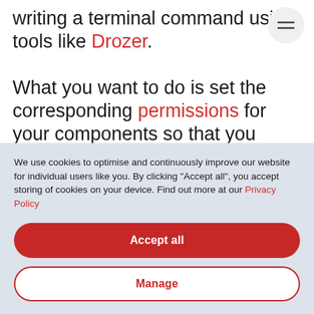writing a terminal command using tools like Drozer. What you want to do is set the corresponding permissions for your components so that you indicate to targets that want to communicate with your application that they need to follow the rules you set. Together with that tag and the
We use cookies to optimise and continuously improve our website for individual users like you. By clicking “Accept all”, you accept storing of cookies on your device. Find out more at our Privacy Policy